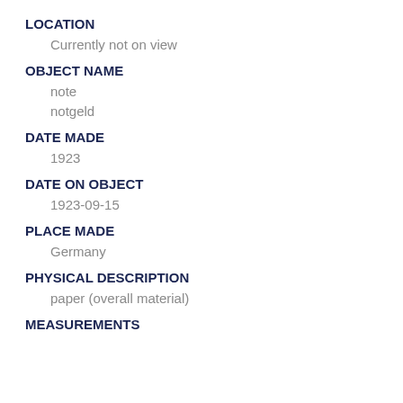LOCATION
Currently not on view
OBJECT NAME
note
notgeld
DATE MADE
1923
DATE ON OBJECT
1923-09-15
PLACE MADE
Germany
PHYSICAL DESCRIPTION
paper (overall material)
MEASUREMENTS